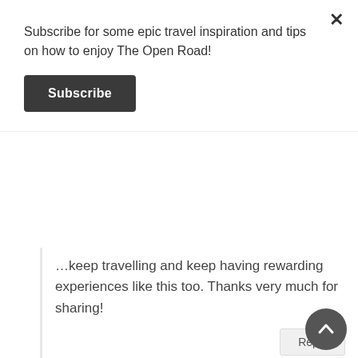Subscribe for some epic travel inspiration and tips on how to enjoy The Open Road!
Subscribe
...keep travelling and keep having rewarding experiences like this too. Thanks very much for sharing!
Reply
Nathan Anderson
March 4, 2015 at 11:03 pm
There are so many ups and downs when living away from home. It's part of what